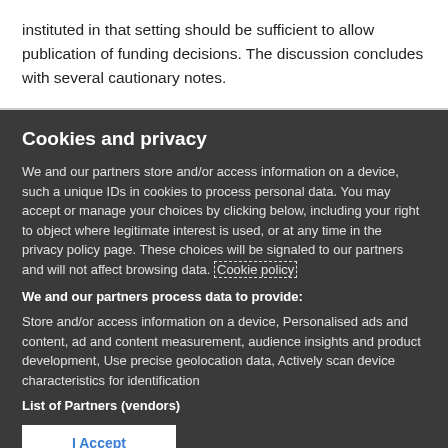instituted in that setting should be sufficient to allow publication of funding decisions. The discussion concludes with several cautionary notes.
Cookies and privacy
We and our partners store and/or access information on a device, such a unique IDs in cookies to process personal data. You may accept or manage your choices by clicking below, including your right to object where legitimate interest is used, or at any time in the privacy policy page. These choices will be signaled to our partners and will not affect browsing data. Cookie policy
We and our partners process data to provide:
Store and/or access information on a device, Personalised ads and content, ad and content measurement, audience insights and product development, Use precise geolocation data, Actively scan device characteristics for identification
List of Partners (vendors)
I Accept